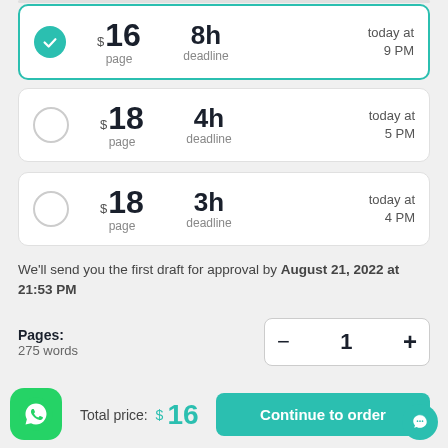$16 / page — 8h deadline — today at 9 PM (selected)
$18 / page — 4h deadline — today at 5 PM
$18 / page — 3h deadline — today at 4 PM
We'll send you the first draft for approval by August 21, 2022 at 21:53 PM
Pages: 275 words
Total price: $16
Continue to order